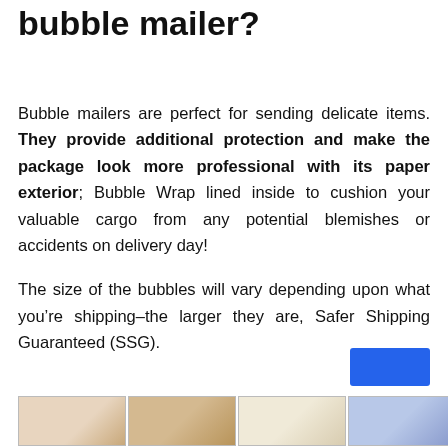bubble mailer?
Bubble mailers are perfect for sending delicate items. They provide additional protection and make the package look more professional with its paper exterior; Bubble Wrap lined inside to cushion your valuable cargo from any potential blemishes or accidents on delivery day!
The size of the bubbles will vary depending upon what you’re shipping–the larger they are, Safer Shipping Guaranteed (SSG).
[Figure (photo): Advertisement banner with shoe images at the bottom of the page, showing multiple pairs of heeled shoes and sandals, with a blue button and NINSTREE brand logo]